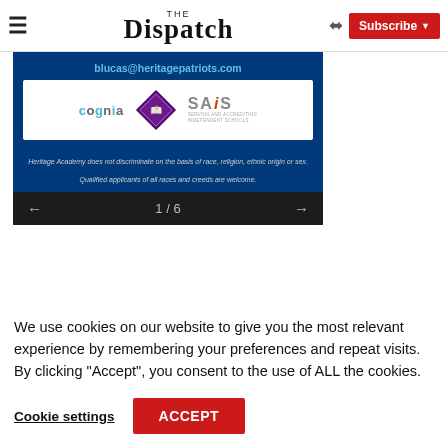The Dispatch — hamburger menu, share icon, Subscribe button
[Figure (screenshot): Heritage Academy school advertisement slideshow showing blucas@heritagepatriots.com email, cognia logo, diamond badge, SAIS logo, disclaimer text about non-discrimination, and slide navigation showing 1/6]
We use cookies on our website to give you the most relevant experience by remembering your preferences and repeat visits. By clicking “Accept”, you consent to the use of ALL the cookies.
Cookie settings   ACCEPT